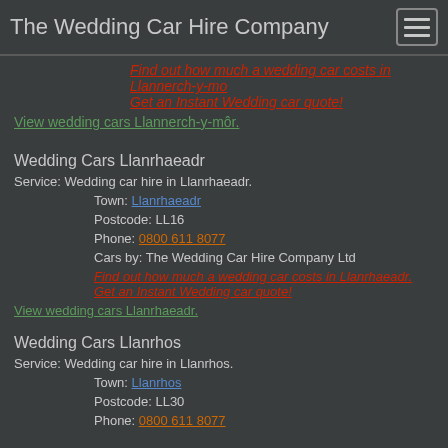The Wedding Car Hire Company
Find out how much a wedding car costs in Llannerch-y-môr. Get an Instant Wedding car quote!
View wedding cars Llannerch-y-môr.
Wedding Cars Llanrhaeadr
Service: Wedding car hire in Llanrhaeadr.
Town: Llanrhaeadr
Postcode: LL16
Phone: 0800 611 8077
Cars by: The Wedding Car Hire Company Ltd
Find out how much a wedding car costs in Llanrhaeadr. Get an Instant Wedding car quote!
View wedding cars Llanrhaeadr.
Wedding Cars Llanrhos
Service: Wedding car hire in Llanrhos.
Town: Llanrhos
Postcode: LL30
Phone: 0800 611 8077